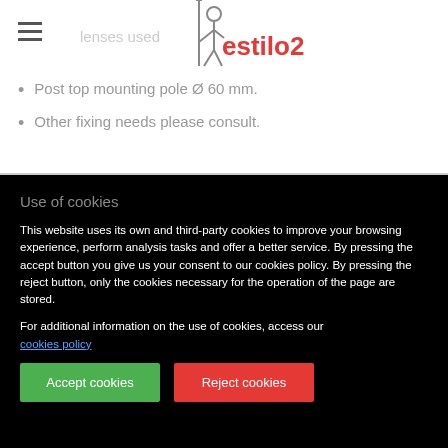lenses used
Post top mounting pole Ø 60 mm.
Other fixing needs please consult.
Use of cookies
This website uses its own and third-party cookies to improve your browsing experience, perform analysis tasks and offer a better service. By pressing the accept button you give us your consent to our cookies policy. By pressing the reject button, only the cookies necessary for the operation of the page are stored.
For additional information on the use of cookies, access our cookies policy
Accept cookies
Reject cookies